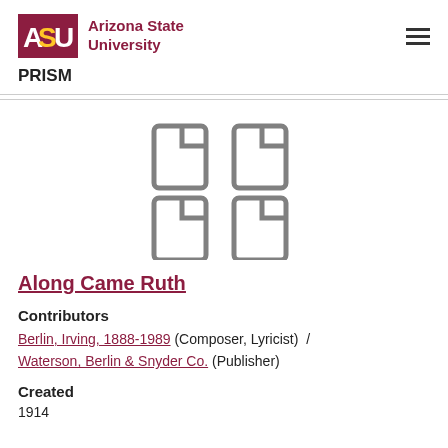[Figure (logo): Arizona State University logo with ASU text in maroon block and university name]
PRISM
[Figure (illustration): Grid of 4 document/file icons in gray]
Along Came Ruth
Contributors
Berlin, Irving, 1888-1989 (Composer, Lyricist) / Waterson, Berlin & Snyder Co. (Publisher)
Created
1914